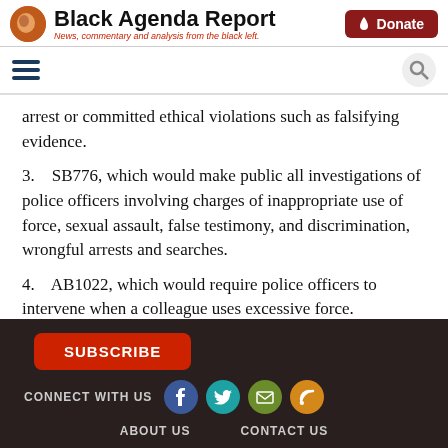Black Agenda Report — News, commentary and analysis from the black left.
arrest or committed ethical violations such as falsifying evidence.
3.    SB776, which would make public all investigations of police officers involving charges of inappropriate use of force, sexual assault, false testimony, and discrimination, wrongful arrests and searches.
4.    AB1022, which would require police officers to intervene when a colleague uses excessive force.
SUBSCRIBE | CONNECT WITH US | ABOUT US | CONTACT US